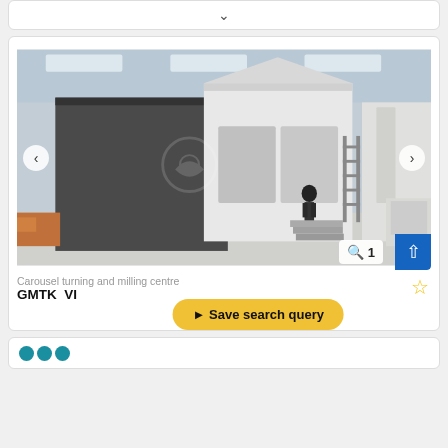[Figure (other): Top card with a collapsed dropdown chevron arrow]
[Figure (photo): Carousel image viewer showing a large CNC carousel turning and milling centre (GMTK) in an industrial factory. A person stands at the machine's control panel. Navigation arrows on left and right. Zoom badge showing '1' in bottom right, blue upload button.]
Carousel turning and milling centre
GMTK  VI
[Figure (other): Save search query button (yellow/gold rounded rectangle) with a send/arrow icon]
[Figure (other): Bottom partially visible card with teal logo circles]